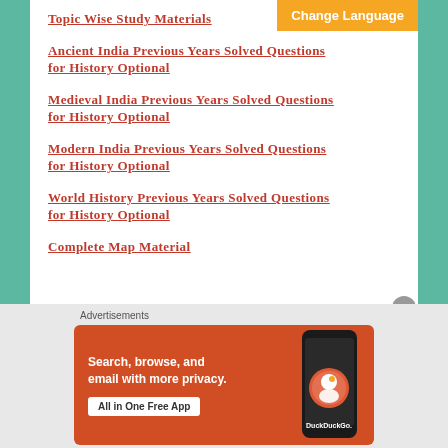Topic Wise Study Materials
Ancient India Previous Years Solved Questions for History Optional
Medieval India Previous Years Solved Questions for History Optional
Modern India Previous Years Solved Questions for History Optional
World History Previous Years Solved Questions for History Optional
Complete Map Material
[Figure (screenshot): DuckDuckGo advertisement banner: 'Search, browse, and email with more privacy. All in One Free App' with phone graphic and DuckDuckGo logo]
Advertisements